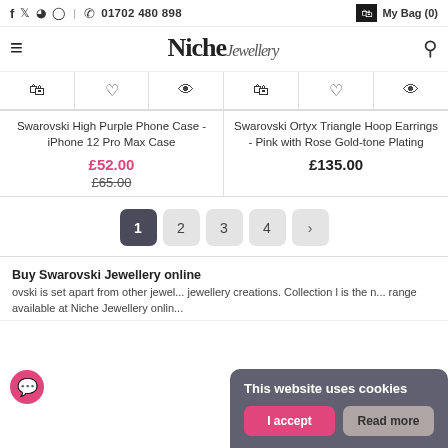f  twitter  pinterest  instagram  |  phone  01702 480 898  |  My Bag (0)
Niche Jewellery
[Figure (screenshot): Product action icons row showing shopping bag, heart/wishlist, and eye/quick-view icons for two products]
Swarovski High Purple Phone Case - iPhone 12 Pro Max Case
Swarovski Ortyx Triangle Hoop Earrings - Pink with Rose Gold-tone Plating
£52.00  £65.00
£135.00
1
2
3
4
>
Buy Swarovski Jewellery online
ovski is set apart from other jewel... jewellery creations. Collection l is the n... range available at Niche Jewellery onlin...